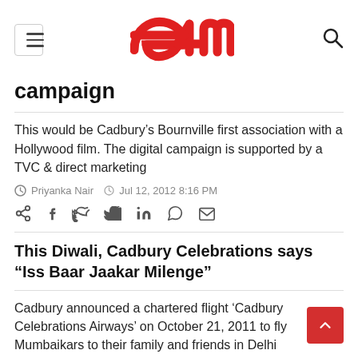e4m logo, hamburger menu, search icon
campaign
This would be Cadbury&rsquo;s Bournville first association with a Hollywood film. The digital campaign is supported by a TVC &amp; direct marketing
Priyanka Nair  Jul 12, 2012 8:16 PM
Social share icons: share, facebook, twitter, linkedin, whatsapp, email
This Diwali, Cadbury Celebrations says "Iss Baar Jaakar Milenge"
Cadbury announced a chartered flight &lsquo;Cadbury Celebrations Airways&rsquo; on October 21, 2011 to fly Mumbaikars to their family and friends in Delhi